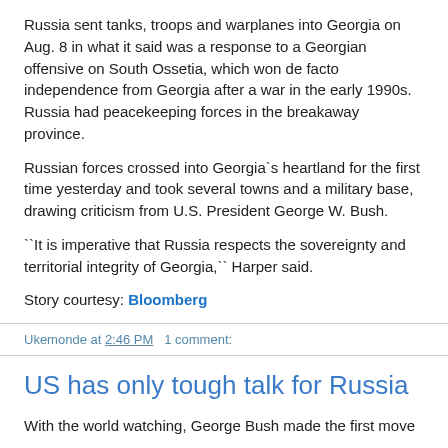Russia sent tanks, troops and warplanes into Georgia on Aug. 8 in what it said was a response to a Georgian offensive on South Ossetia, which won de facto independence from Georgia after a war in the early 1990s. Russia had peacekeeping forces in the breakaway province.
Russian forces crossed into Georgia`s heartland for the first time yesterday and took several towns and a military base, drawing criticism from U.S. President George W. Bush.
``It is imperative that Russia respects the sovereignty and territorial integrity of Georgia,`` Harper said.
Story courtesy: Bloomberg
Ukemonde at 2:46 PM   1 comment:
US has only tough talk for Russia
With the world watching, George Bush made the first move